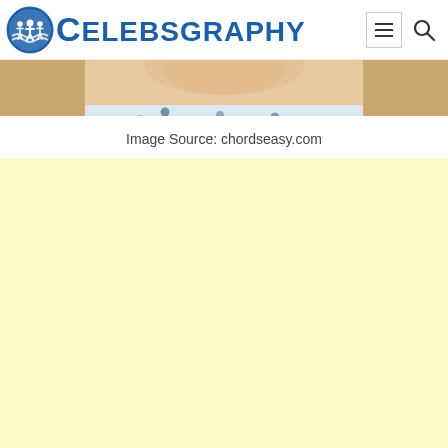CELEBSGRAPHY
[Figure (photo): Partial cropped photo showing a person's face/shoulders area with skin tones and a polka dot or patterned blouse, cropped at top of page]
Image Source: chordseasy.com
[Figure (other): Advertisement placeholder area with light yellow background]